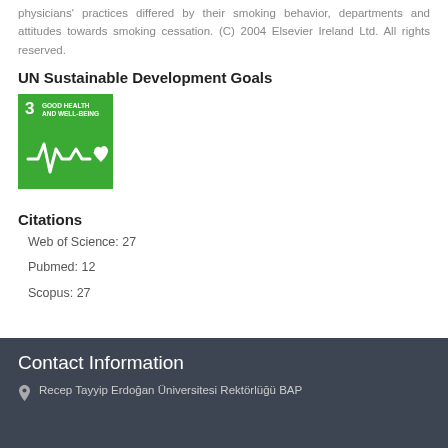physicians' practices differed by their smoking behavior, departments and attitudes towards smoking cessation. (C) 2004 Elsevier Ireland Ltd. All rights reserved.
UN Sustainable Development Goals
[Figure (illustration): SDG Goal 3 icon - Good Health and Well-Being, green square with white heartbeat/ECG line and heart symbol, number 3 in top left corner]
Citations
Web of Science: 27
Pubmed: 12
Scopus: 27
Contact Information
Recep Tayyip Erdoğan Üniversitesi Rektörlüğü BAP